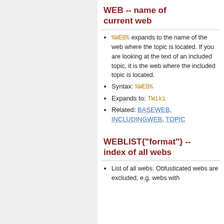WEB -- name of current web
%WEB% expands to the name of the web where the topic is located. If you are looking at the text of an included topic, it is the web where the included topic is located.
Syntax: %WEB%
Expands to: TWiki
Related: BASEWEB, INCLUDINGWEB, TOPIC
WEBLIST{"format"} -- index of all webs
List of all webs. Obfusticated webs are excluded, e.g. webs with